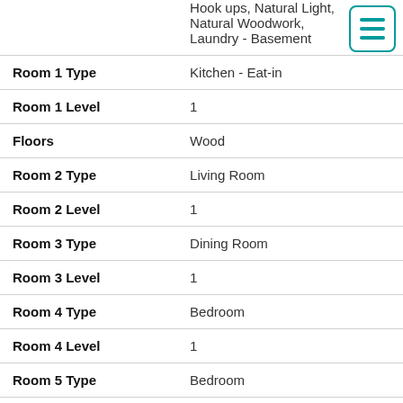| Field | Value |
| --- | --- |
|  | Hook ups, Natural Light, Natural Woodwork, Laundry - Basement |
| Room 1 Type | Kitchen - Eat-in |
| Room 1 Level | 1 |
| Floors | Wood |
| Room 2 Type | Living Room |
| Room 2 Level | 1 |
| Room 3 Type | Dining Room |
| Room 3 Level | 1 |
| Room 4 Type | Bedroom |
| Room 4 Level | 1 |
| Room 5 Type | Bedroom |
| Room 5 Level | 2 |